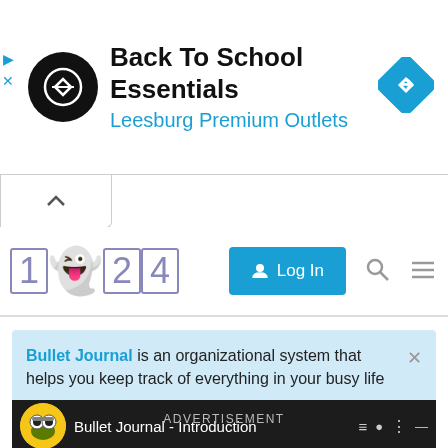[Figure (screenshot): Ad banner for Back To School Essentials at Leesburg Premium Outlets with circular logo and navigation diamond icon]
[Figure (screenshot): Website navigation bar with '1 ghost 24' logo, Log In button, search icon, and hamburger menu]
Bullet Journal is an organizational system that helps you keep track of everything in your busy life
[Figure (screenshot): Video player bar showing Bullet Journal - Introduction with minion thumbnail]
ADVERTISEMENT